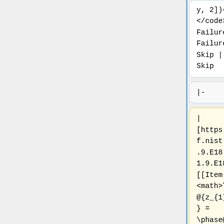y, 2])^(2)]
</code> ||
Failure ||
Failure ||
Skip ||
Skip
y, 2])^(2)]
</code> ||
Failure ||
Failure ||
Skip ||
Skip
|-
|-
|
[https://dlmf.nist.gov/1.9.E18 1.9.E18] ||
[[Item:Q292|<math>\phase@{z_{1}z_{2}} = \phase@@{z_{1}}+\phase@@{z_{2}}</math>]]
|
[https://dlmf.nist.gov/1.9.E18 1.9.E18] ||
[[Item:Q292|<math>\phase@{z_{1}z_{2}} = \phase@@{z_{1}}+\phase@@{z_{2}}</math>]]